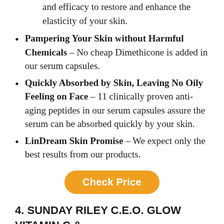and efficacy to restore and enhance the elasticity of your skin.
Pampering Your Skin without Harmful Chemicals – No cheap Dimethicone is added in our serum capsules.
Quickly Absorbed by Skin, Leaving No Oily Feeling on Face – 11 clinically proven anti-aging peptides in our serum capsules assure the serum can be absorbed quickly by your skin.
LinDream Skin Promise – We expect only the best results from our products.
Check Price
4. SUNDAY RILEY C.E.O. GLOW VITAMIN C & TURMERIC FACE OIL